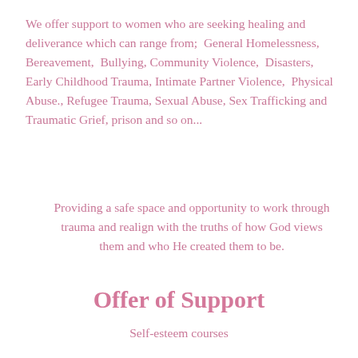We offer support to women who are seeking healing and deliverance which can range from;  General Homelessness, Bereavement,  Bullying, Community Violence,  Disasters, Early Childhood Trauma, Intimate Partner Violence,  Physical Abuse., Refugee Trauma, Sexual Abuse, Sex Trafficking and Traumatic Grief, prison and so on...
Providing a safe space and opportunity to work through trauma and realign with the truths of how God views them and who He created them to be.
Offer of Support
Self-esteem courses